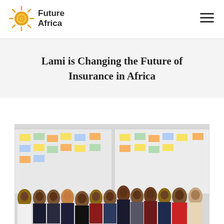Future Africa
Lami is Changing the Future of Insurance in Africa
[Figure (photo): Group photo of approximately 14 people standing in front of a whiteboard covered with colorful sticky notes in an office setting]